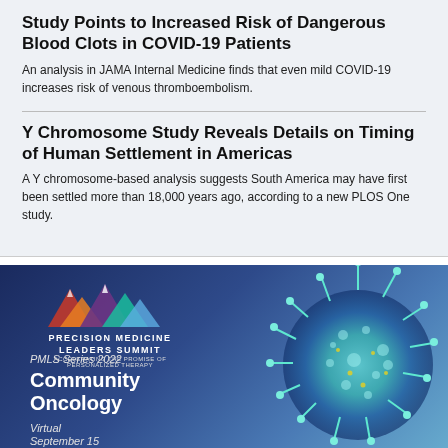Study Points to Increased Risk of Dangerous Blood Clots in COVID-19 Patients
An analysis in JAMA Internal Medicine finds that even mild COVID-19 increases risk of venous thromboembolism.
Y Chromosome Study Reveals Details on Timing of Human Settlement in Americas
A Y chromosome-based analysis suggests South America may have first been settled more than 18,000 years ago, according to a new PLOS One study.
[Figure (infographic): Precision Medicine Leaders Summit advertisement featuring a blue gradient background with a 3D rendered virus cell on the right, mountain logo on the upper left, and text reading: PMLS Series 2022, Community Oncology, Virtual, September 15]